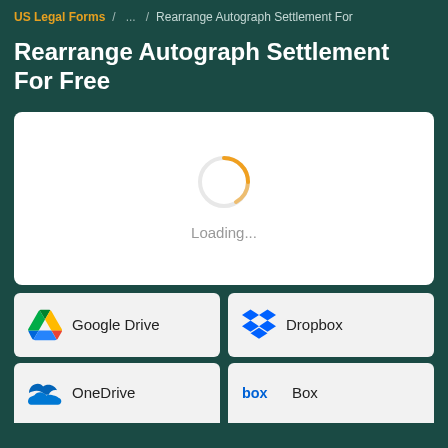US Legal Forms / ... / Rearrange Autograph Settlement For
Rearrange Autograph Settlement For Free
[Figure (screenshot): Loading spinner animation showing an orange arc circle with 'Loading...' text below it, inside a white card panel]
[Figure (infographic): Storage service buttons: Google Drive (with Google Drive triangle logo) and Dropbox (with blue Dropbox logo), plus partially visible OneDrive and Box buttons at the bottom]